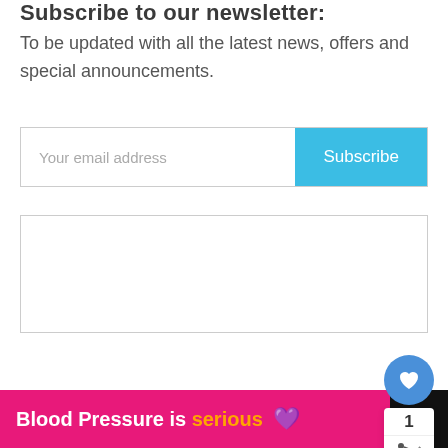Subscribe to our newsletter:
To be updated with all the latest news, offers and special announcements.
[Figure (screenshot): Email subscription form with 'Your email address' input field and blue 'Subscribe' button]
[Figure (screenshot): Empty white box with border]
[Figure (infographic): Blue circular heart/like button with count badge showing '1' and share icon below]
Exclusive Member of Mediavine Food
[Figure (screenshot): Pink advertisement banner: 'Blood Pressure is serious' with heart icon and website logo]